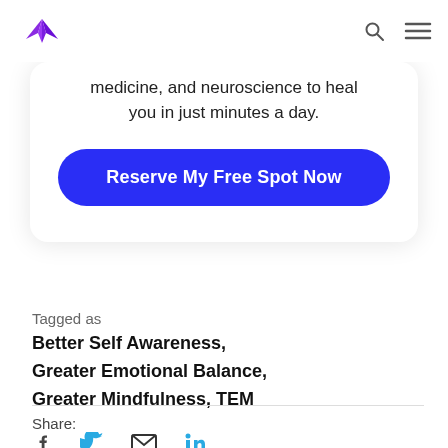[Logo: Muse – purple leaf/wings icon] [Search icon] [Menu icon]
medicine, and neuroscience to heal you in just minutes a day.
Reserve My Free Spot Now
Tagged as
Better Self Awareness, Greater Emotional Balance, Greater Mindfulness, TEM
Share:
[Figure (other): Social share icons: Facebook, Twitter, Email, LinkedIn]